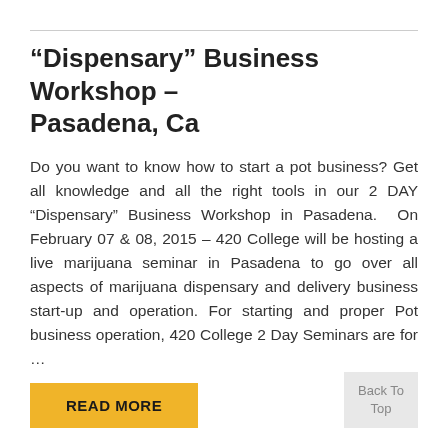“Dispensary” Business Workshop – Pasadena, Ca
Do you want to know how to start a pot business? Get all knowledge and all the right tools in our 2 DAY “Dispensary” Business Workshop in Pasadena.  On February 07 & 08, 2015 – 420 College will be hosting a live marijuana seminar in Pasadena to go over all aspects of marijuana dispensary and delivery business start-up and operation. For starting and proper Pot business operation, 420 College 2 Day Seminars are for …
READ MORE
Back To Top